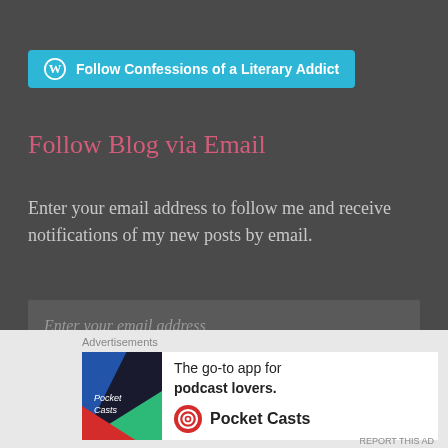[Figure (logo): WordPress Follow button: cyan/teal background with WordPress W logo and text 'Follow Confessions of a Literary Addict']
Follow Blog via Email
Enter your email address to follow me and receive notifications of my new posts by email.
[Figure (screenshot): Email input field with placeholder text 'Enter your email address']
[Figure (screenshot): Pink/magenta Follow button with italic white text 'Follow']
[Figure (screenshot): Close button - gray circle with X]
Advertisements
[Figure (screenshot): Pocket Casts advertisement: 'The go-to app for podcast lovers.' with Pocket Casts logo and colorful app icon]